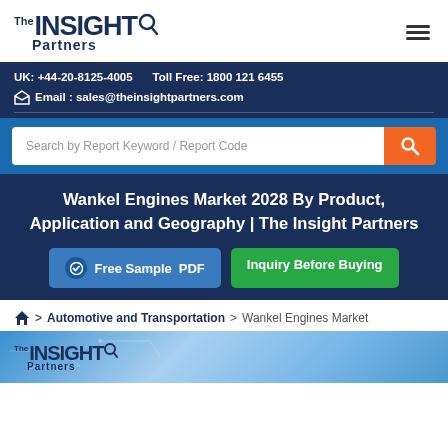[Figure (logo): The Insight Partners logo with magnifier icon and hamburger menu]
UK: +44-20-8125-4005    Toll Free: 1800 121 6455
Email : sales@theinsightpartners.com
Search by Report Keyword / Report Code
Wankel Engines Market 2028 By Product, Application and Geography | The Insight Partners
Free Sample PDF  Inquiry Before Buying
> Automotive and Transportation > Wankel Engines Market
[Figure (logo): The Insight Partners logo on blue background image strip at bottom]